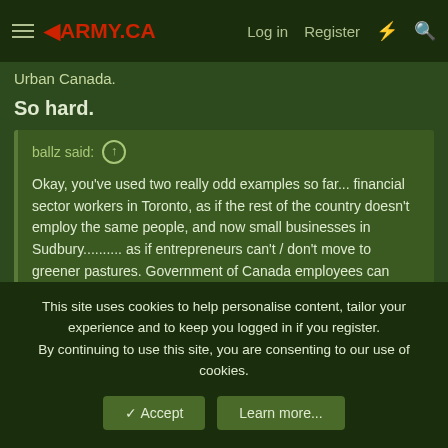4ARMY.CA — Log in  Register
Urban Canada.
So hard.
ballz said: ↑
Okay, you've used two really odd examples so far... financial sector workers in Toronto, as if the rest of the country doesn't employ the same people, and now small businesses in Sudbury.......... as if entrepreneurs can't / don't move to greener pastures. Government of Canada employees can transfer pretty easy, and generally get paid better than their private sector counterparts.
Hahahahaha
ballz said: ↑
This site uses cookies to help personalise content, tailor your experience and to keep you logged in if you register.
By continuing to use this site, you are consenting to our use of cookies.